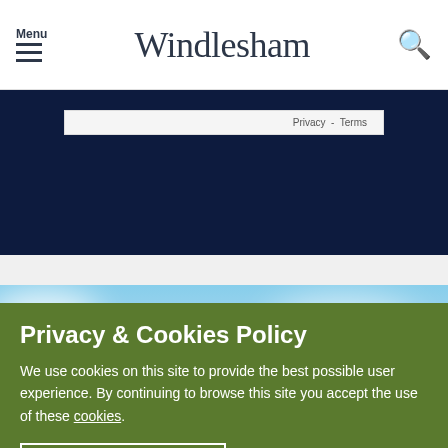Menu  Windlesham  [search]
Privacy - Terms
[Figure (photo): Sky with clouds and partial view of a white-bordered building or structure below]
Privacy & Cookies Policy
We use cookies on this site to provide the best possible user experience. By continuing to browse this site you accept the use of these cookies.
OKAY THANKS